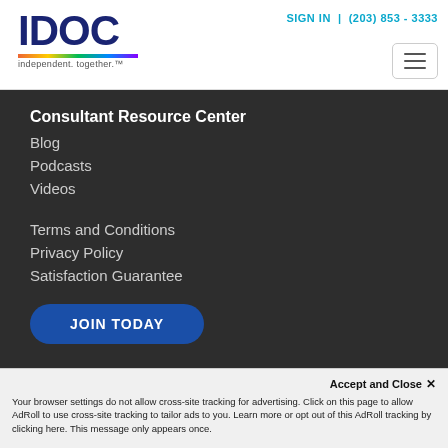[Figure (logo): IDOC logo with colorful bar and tagline 'independent. together.']
SIGN IN | (203) 853 - 3333
Consultant Resource Center
Blog
Podcasts
Videos
Terms and Conditions
Privacy Policy
Satisfaction Guarantee
JOIN TODAY
Members: SIGN IN
Accept and Close ✕
Your browser settings do not allow cross-site tracking for advertising. Click on this page to allow AdRoll to use cross-site tracking to tailor ads to you. Learn more or opt out of this AdRoll tracking by clicking here. This message only appears once.